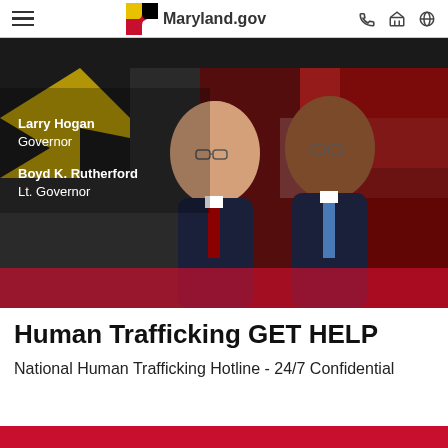Maryland.gov
[Figure (photo): Official photo of Larry Hogan, Governor, and Boyd K. Rutherford, Lt. Governor, posed in front of a Maryland flag background. Text overlay reads: Larry Hogan Governor, Boyd K. Rutherford Lt. Governor.]
Human Trafficking GET HELP
National Human Trafficking Hotline - 24/7 Confidential